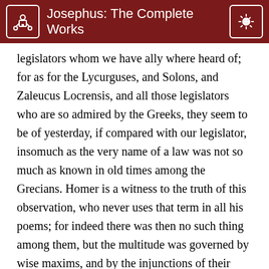Josephus: The Complete Works
legislators whom we have ally where heard of; for as for the Lycurguses, and Solons, and Zaleucus Locrensis, and all those legislators who are so admired by the Greeks, they seem to be of yesterday, if compared with our legislator, insomuch as the very name of a law was not so much as known in old times among the Grecians. Homer is a witness to the truth of this observation, who never uses that term in all his poems; for indeed there was then no such thing among them, but the multitude was governed by wise maxims, and by the injunctions of their king. It was also a long time that they continued in the use of these